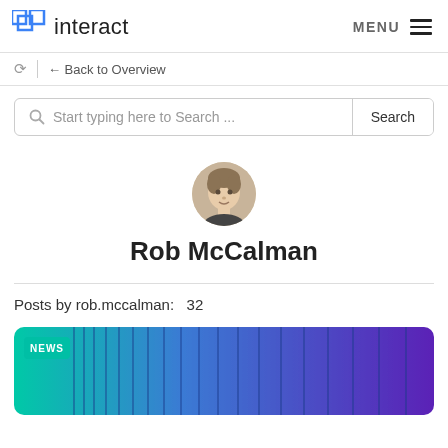interact   MENU
← Back to Overview
Start typing here to Search ...   Search
[Figure (photo): Circular profile photo of a man]
Rob McCalman
Posts by rob.mccalman:   32
[Figure (illustration): News card with teal to purple gradient stripe pattern and NEWS badge]